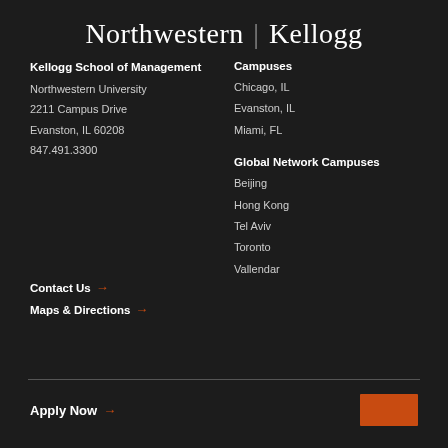Northwestern Kellogg
Kellogg School of Management
Northwestern University
2211 Campus Drive
Evanston, IL 60208
847.491.3300
Campuses
Chicago, IL
Evanston, IL
Miami, FL
Global Network Campuses
Beijing
Hong Kong
Tel Aviv
Toronto
Vallendar
Contact Us →
Maps & Directions →
Apply Now →